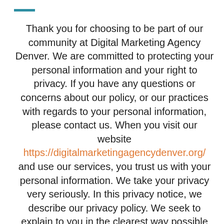Thank you for choosing to be part of our community at Digital Marketing Agency Denver. We are committed to protecting your personal information and your right to privacy. If you have any questions or concerns about our policy, or our practices with regards to your personal information, please contact us. When you visit our website https://digitalmarketingagencydenver.org/ and use our services, you trust us with your personal information. We take your privacy very seriously. In this privacy notice, we describe our privacy policy. We seek to explain to you in the clearest way possible what information we collect, how we use it and what rights you have in relation to it. We hope you take some time to read through it carefully, as it